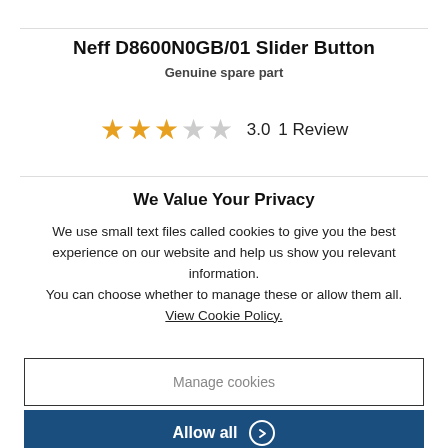Neff D8600N0GB/01 Slider Button
Genuine spare part
[Figure (other): Star rating: 3 out of 5 stars, score 3.0, 1 Review]
We Value Your Privacy
We use small text files called cookies to give you the best experience on our website and help us show you relevant information.
You can choose whether to manage these or allow them all.
View Cookie Policy.
Manage cookies
Allow all